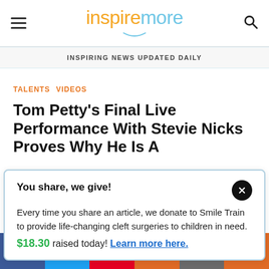inspiremore
INSPIRING NEWS UPDATED DAILY
TALENTS  VIDEOS
Tom Petty's Final Live Performance With Stevie Nicks Proves Why He Is A Legend
You share, we give!
Every time you share an article, we donate to Smile Train to provide life-changing cleft surgeries to children in need.
$18.30 raised today! Learn more here.